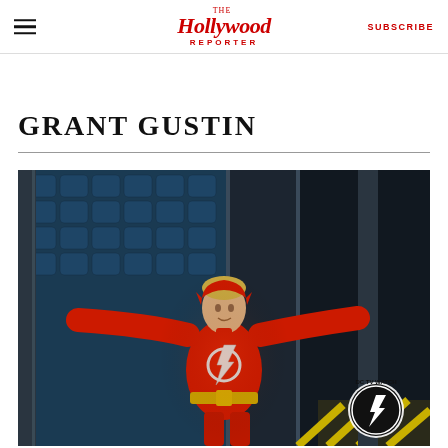The Hollywood Reporter — SUBSCRIBE
GRANT GUSTIN
[Figure (photo): Actor Grant Gustin in The Flash superhero costume (red suit with lightning bolt emblem), arms spread wide, standing in a dramatic sci-fi set with blue padded walls. DC TV Watch logo visible in bottom right corner.]